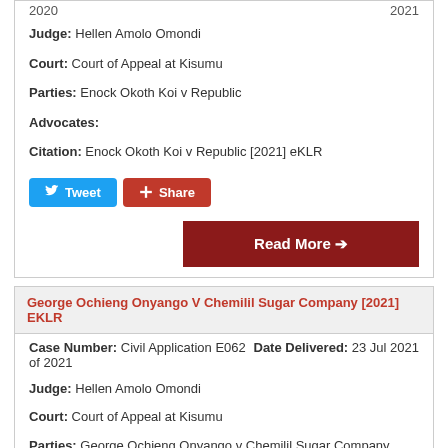Judge: Hellen Amolo Omondi
Court: Court of Appeal at Kisumu
Parties: Enock Okoth Koi v Republic
Advocates:
Citation: Enock Okoth Koi v Republic [2021] eKLR
[Figure (other): Tweet and Share social buttons, and a Read More button]
George Ochieng Onyango V Chemilil Sugar Company [2021] EKLR
Case Number: Civil Application E062 of 2021
Date Delivered: 23 Jul 2021
Judge: Hellen Amolo Omondi
Court: Court of Appeal at Kisumu
Parties: George Ochieng Onyango v Chemilil Sugar Company